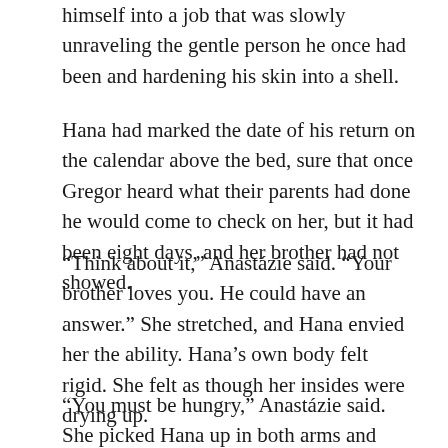himself into a job that was slowly unraveling the gentle person he once had been and hardening his skin into a shell.
Hana had marked the date of his return on the calendar above the bed, sure that once Gregor heard what their parents had done he would come to check on her, but it had been eight days, and her brother had not showed.
“Think about it,” Anastázie said. “Your brother loves you. He could have an answer.” She stretched, and Hana envied her the ability. Hana’s own body felt rigid. She felt as though her insides were drying up.
“You must be hungry,” Anastázie said. She picked Hana up in both arms and cradled her like a large baby, carried her into the kitchen. The view outside